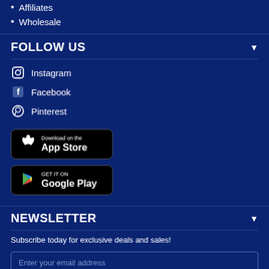Affiliates
Wholesale
FOLLOW US
Instagram
Facebook
Pinterest
[Figure (logo): Download on the App Store button]
[Figure (logo): Get it on Google Play button]
NEWSLETTER
Subscribe today for exclusive deals and sales!
Enter your email address